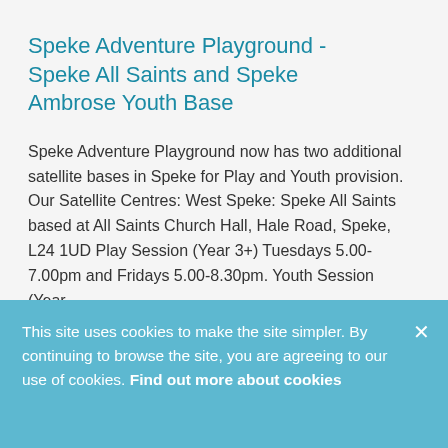Speke Adventure Playground - Speke All Saints and Speke Ambrose Youth Base
Speke Adventure Playground now has two additional satellite bases in Speke for Play and Youth provision.  Our Satellite Centres: West Speke: Speke All Saints based at All Saints Church Hall, Hale Road, Speke, L24 1UD  Play Session (Year 3+) Tuesdays 5.00-7.00pm and Fridays 5.00-8.30pm. Youth Session (Year...
This site uses cookies to make the site simpler. By continuing to browse the site, you are agreeing to our use of cookies. Find out more about cookies